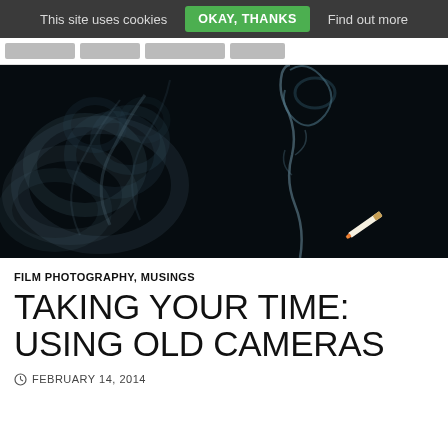This site uses cookies  OKAY, THANKS  Find out more
[Figure (photo): Dark/black background photo of cigarette smoke curling upward in wispy blue-white trails, with a lit cigarette visible at the bottom right.]
FILM PHOTOGRAPHY, MUSINGS
TAKING YOUR TIME: USING OLD CAMERAS
FEBRUARY 14, 2014